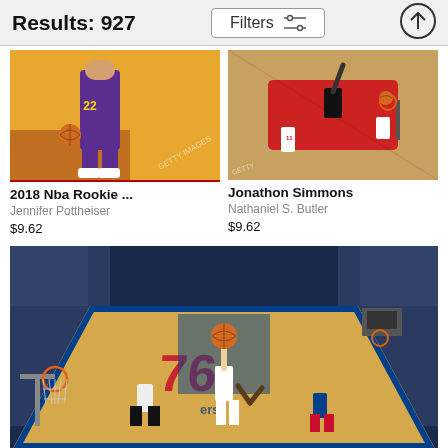Results: 927
[Figure (screenshot): Filters button with sliders icon]
[Figure (photo): NBA player wearing #22 purple uniform standing on court - 2018 NBA Rookie photo]
2018 Nba Rookie ...
Jennifer Pottheiser
$9.62
[Figure (photo): Jonathon Simmons dunking basketball, aerial view, Chicago Bulls court]
Jonathon Simmons
Nathaniel S. Butler
$9.62
[Figure (photo): Basketball game at Philadelphia 76ers arena, player shooting layup, packed crowd, overhead view of court]